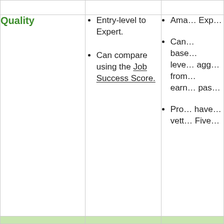|  |  |  |
| --- | --- | --- |
| Quality | Entry-level to Expert.
Can compare using the Job Success Score. | Ama… Exp…
Can… base… leve… agg… from… earn… pas…
Pro… have… vett… Five… |